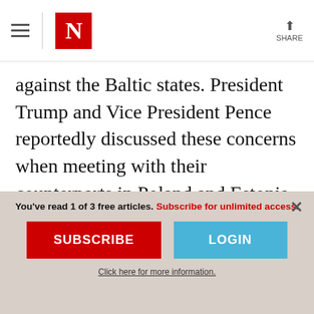N | SHARE
against the Baltic states. President Trump and Vice President Pence reportedly discussed these concerns when meeting with their counterparts in Poland and Estonia, respectively, and NATO officials have been discussing the deployment of additional troops and missile batteries in the Baltics as possible countermeasures. What will happen
You've read 1 of 3 free articles. Subscribe for unlimited access.
SUBSCRIBE
LOGIN
Click here for more information.